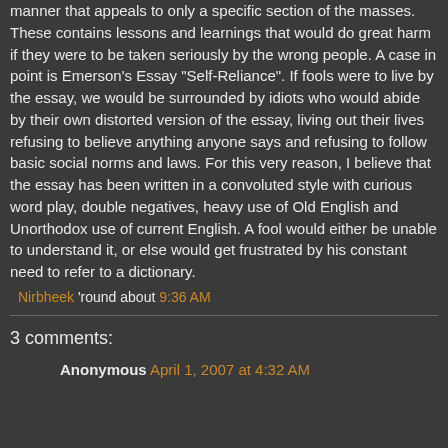manner that appeals to only a specific section of the masses. These contains lessons and learnings that would do great harm if they were to be taken seriously by the wrong people. A case in point is Emerson's Essay "Self-Reliance". If fools were to live by the essay, we would be surrounded by idiots who would abide by their own distorted version of the essay, living out their lives refusing to believe anything anyone says and refusing to follow basic social norms and laws. For this very reason, I believe that the essay has been written in a convoluted style with curious word play, double negatives, heavy use of Old English and Unorthodox use of current English. A fool would either be unable to understand it, or else would get frustrated by his constant need to refer to a dictionary.
Nirbheek 'round about 9:36 AM
3 comments:
Anonymous April 1, 2007 at 4:32 AM